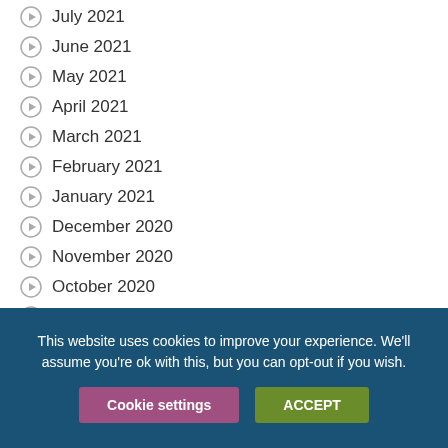July 2021
June 2021
May 2021
April 2021
March 2021
February 2021
January 2021
December 2020
November 2020
October 2020
September 2020
This website uses cookies to improve your experience. We'll assume you're ok with this, but you can opt-out if you wish.
Cookie settings | ACCEPT